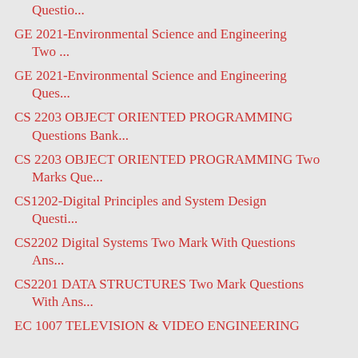Questio...
GE 2021-Environmental Science and Engineering Two ...
GE 2021-Environmental Science and Engineering Ques...
CS 2203 OBJECT ORIENTED PROGRAMMING Questions Bank...
CS 2203 OBJECT ORIENTED PROGRAMMING Two Marks Que...
CS1202-Digital Principles and System Design Questi...
CS2202 Digital Systems Two Mark With Questions Ans...
CS2201 DATA STRUCTURES Two Mark Questions With Ans...
EC 1007 TELEVISION & VIDEO ENGINEERING